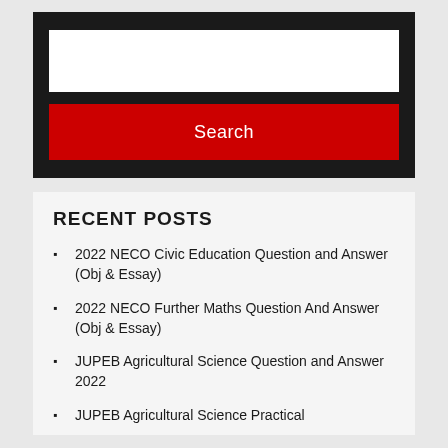[Figure (screenshot): Search widget with white text input box and red Search button on dark background]
RECENT POSTS
2022 NECO Civic Education Question and Answer (Obj & Essay)
2022 NECO Further Maths Question And Answer (Obj & Essay)
JUPEB Agricultural Science Question and Answer 2022
JUPEB Agricultural Science Practical